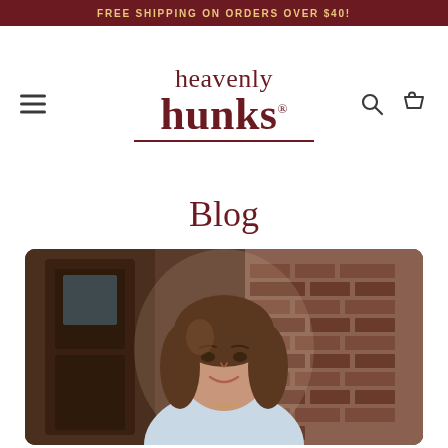FREE SHIPPING ON ORDERS OVER $40!
[Figure (logo): Heavenly Hunks brand logo with text 'heavenly hunks' in dark maroon serif font with underline]
Blog
[Figure (photo): Portrait photo of a young woman with medium-length brown hair, smiling, wearing a light blue top, standing in front of a brick wall and wooden door]